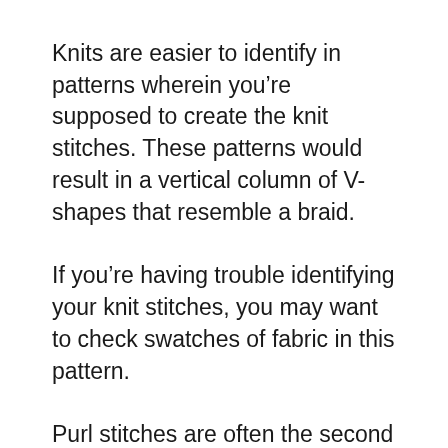Knits are easier to identify in patterns wherein you’re supposed to create the knit stitches. These patterns would result in a vertical column of V-shapes that resemble a braid.
If you’re having trouble identifying your knit stitches, you may want to check swatches of fabric in this pattern.
Purl stitches are often the second type of stitch learned by knitting beginners. Since they are just the reverse of knit stitches, purls create a U shape, or what some knitters would describe as a